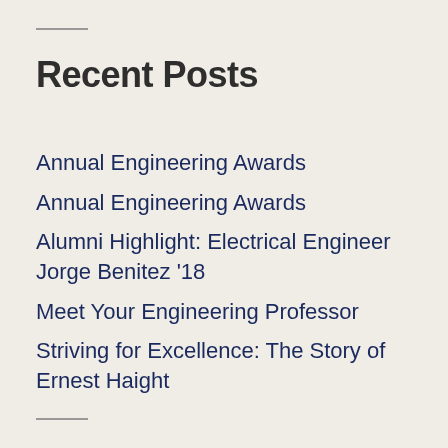Recent Posts
Annual Engineering Awards
Annual Engineering Awards
Alumni Highlight: Electrical Engineer Jorge Benitez '18
Meet Your Engineering Professor
Striving for Excellence: The Story of Ernest Haight